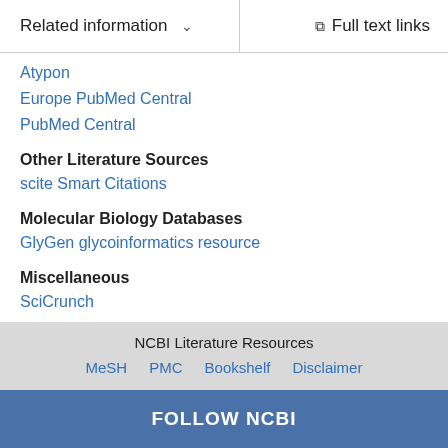Related information  ∨    Full text links
Atypon
Europe PubMed Central
PubMed Central
Other Literature Sources
scite Smart Citations
Molecular Biology Databases
GlyGen glycoinformatics resource
Miscellaneous
SciCrunch
NCBI Literature Resources  MeSH  PMC  Bookshelf  Disclaimer
FOLLOW NCBI